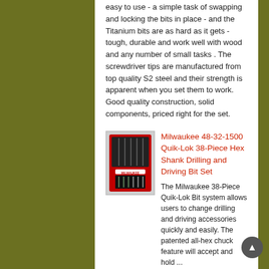easy to use - a simple task of swapping and locking the bits in place - and the Titanium bits are as hard as it gets - tough, durable and work well with wood and any number of small tasks . The screwdriver tips are manufactured from top quality S2 steel and their strength is apparent when you set them to work. Good quality construction, solid components, priced right for the set.
Milwaukee 48-32-1500 Quik-Lok 38-Piece Hex Shank Drilling and Driving Bit Set
[Figure (photo): Product image of Milwaukee 48-32-1500 drill bit set in red packaging]
The Milwaukee 38-Piece Quik-Lok Bit system allows users to change drilling and driving accessories quickly and easily. The patented all-hex chuck feature will accept and hold ...
Only $58.79
View on Amazon
Bosch TI18 18-Piece Titanium Twist Drill Bit Assortment with